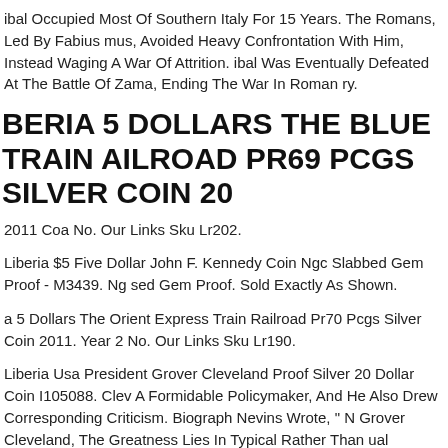ibal Occupied Most Of Southern Italy For 15 Years. The Romans, Led By Fabius mus, Avoided Heavy Confrontation With Him, Instead Waging A War Of Attrition. ibal Was Eventually Defeated At The Battle Of Zama, Ending The War In Roman ry.
BERIA 5 DOLLARS THE BLUE TRAIN AILROAD PR69 PCGS SILVER COIN 20
2011 Coa No. Our Links Sku Lr202.
Liberia $5 Five Dollar John F. Kennedy Coin Ngc Slabbed Gem Proof - M3439. Ng sed Gem Proof. Sold Exactly As Shown.
a 5 Dollars The Orient Express Train Railroad Pr70 Pcgs Silver Coin 2011. Year 2 No. Our Links Sku Lr190.
Liberia Usa President Grover Cleveland Proof Silver 20 Dollar Coin I105088. Clev A Formidable Policymaker, And He Also Drew Corresponding Criticism. Biograph Nevins Wrote, " N Grover Cleveland, The Greatness Lies In Typical Rather Than ual Qualities. He Possessed Honesty, Courage, Firmness, Independence, And mon Sense.